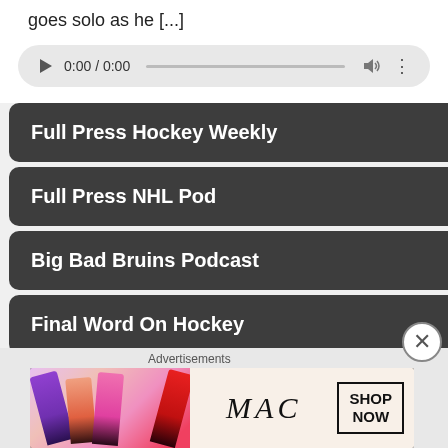goes solo as he [...]
[Figure (screenshot): Audio player widget showing 0:00 / 0:00 with play button, progress bar, volume icon, and more options icon]
Full Press Hockey Weekly
Full Press NHL Pod
Big Bad Bruins Podcast
Final Word On Hockey
Fourth Line Hockey Podcast
Golden Forecaster Podcast (partially visible)
[Figure (photo): MAC Cosmetics advertisement banner with lipsticks and SHOP NOW button]
Advertisements